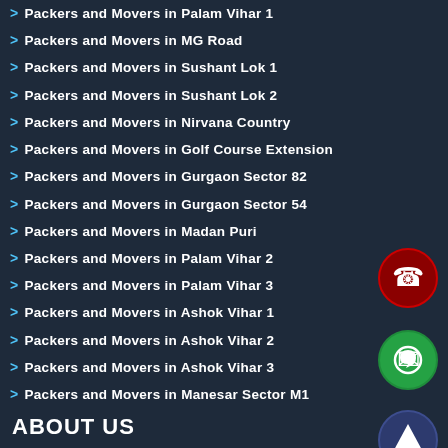> Packers and Movers in Palam Vihar 1
> Packers and Movers in MG Road
> Packers and Movers in Sushant Lok 1
> Packers and Movers in Sushant Lok 2
> Packers and Movers in Nirvana Country
> Packers and Movers in Golf Course Extension
> Packers and Movers in Gurgaon Sector 82
> Packers and Movers in Gurgaon Sector 54
> Packers and Movers in Madan Puri
> Packers and Movers in Palam Vihar 2
> Packers and Movers in Palam Vihar 3
> Packers and Movers in Ashok Vihar 1
> Packers and Movers in Ashok Vihar 2
> Packers and Movers in Ashok Vihar 3
> Packers and Movers in Manesar Sector M1
[Figure (illustration): Red circle button with telephone icon]
[Figure (illustration): Green circle button with WhatsApp icon]
[Figure (illustration): Dark blue circle button with upward arrow icon]
ABOUT US